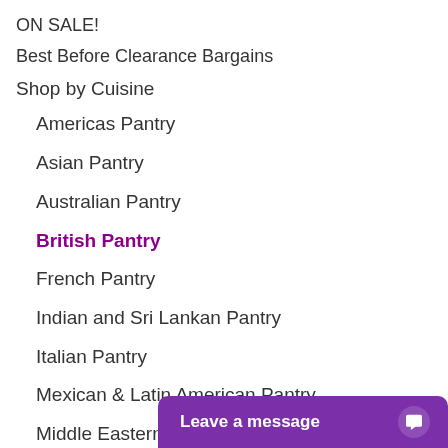ON SALE!
Best Before Clearance Bargains
Shop by Cuisine
Americas Pantry
Asian Pantry
Australian Pantry
British Pantry
French Pantry
Indian and Sri Lankan Pantry
Italian Pantry
Mexican & Latin American Pantry
Middle Eastern P…
Spanish Pantry (partially visible)
[Figure (screenshot): Purple chat widget at bottom right reading 'Leave a message' with a chat bubble icon]